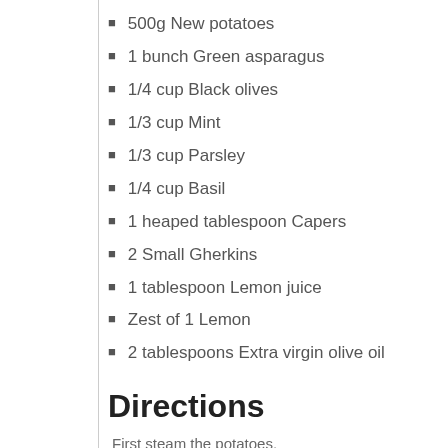500g New potatoes
1 bunch Green asparagus
1/4 cup Black olives
1/3 cup Mint
1/3 cup Parsley
1/4 cup Basil
1 heaped tablespoon Capers
2 Small Gherkins
1 tablespoon Lemon juice
Zest of 1 Lemon
2 tablespoons Extra virgin olive oil
Directions
First steam the potatoes.